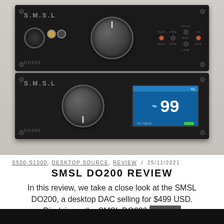[Figure (photo): Photo of two stacked SMSL audio devices: the HO200 headphone amplifier on top and the DO200 DAC on bottom. Both are black aluminum chassis units with large volume knobs. The DO200 has a blue LCD display showing '99' and a USB symbol with 'No signal' text.]
S500-S1000, DESKTOP SOURCE, REVIEW / 25/11/2021
SMSL DO200 REVIEW
In this review, we take a close look at the SMSL DO200, a desktop DAC selling for $499 USD. Disclaimer: the SMSL DO200...
CLOSE